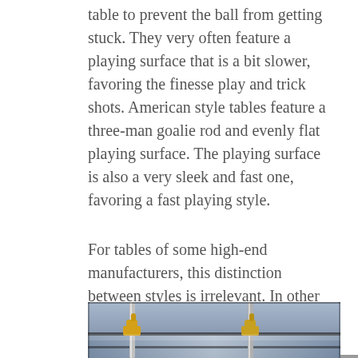table to prevent the ball from getting stuck. They very often feature a playing surface that is a bit slower, favoring the finesse play and trick shots. American style tables feature a three-man goalie rod and evenly flat playing surface. The playing surface is also a very sleek and fast one, favoring a fast playing style.
For tables of some high-end manufacturers, this distinction between styles is irrelevant. In other words, there is no need to pay special care whether the table is one or the other style. They come with all parts needed to set them up as either of these styles.
[Figure (photo): Partial photo of a foosball table, showing blurred metallic rods with yellow/gold player figures, and the table playing surface.]